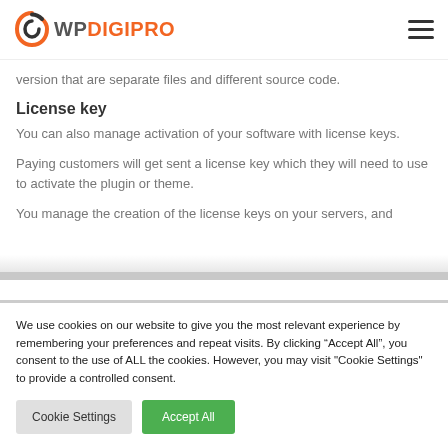WP DIGIPRO
version that are separate files and different source code.
License key
You can also manage activation of your software with license keys.
Paying customers will get sent a license key which they will need to use to activate the plugin or theme.
You manage the creation of the license keys on your servers, and
We use cookies on our website to give you the most relevant experience by remembering your preferences and repeat visits. By clicking “Accept All”, you consent to the use of ALL the cookies. However, you may visit "Cookie Settings" to provide a controlled consent.